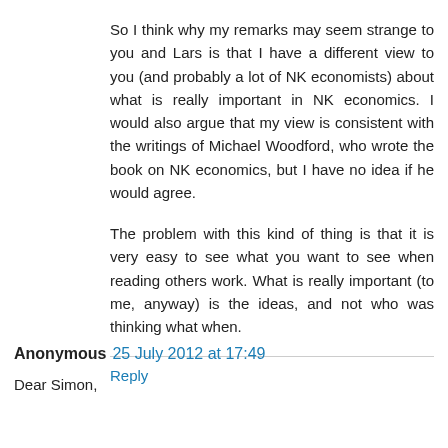So I think why my remarks may seem strange to you and Lars is that I have a different view to you (and probably a lot of NK economists) about what is really important in NK economics. I would also argue that my view is consistent with the writings of Michael Woodford, who wrote the book on NK economics, but I have no idea if he would agree.

The problem with this kind of thing is that it is very easy to see what you want to see when reading others work. What is really important (to me, anyway) is the ideas, and not who was thinking what when.
Reply
Anonymous 25 July 2012 at 17:49
Dear Simon,